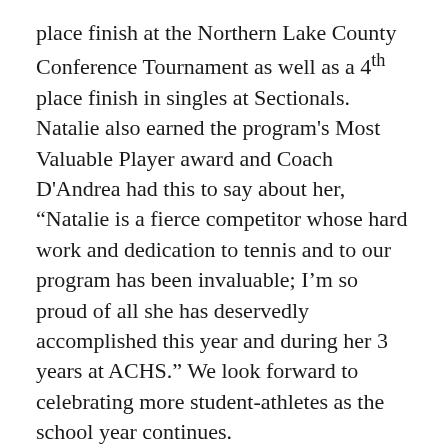place finish at the Northern Lake County Conference Tournament as well as a 4th place finish in singles at Sectionals. Natalie also earned the program's Most Valuable Player award and Coach D'Andrea had this to say about her, “Natalie is a fierce competitor whose hard work and dedication to tennis and to our program has been invaluable; I’m so proud of all she has deservedly accomplished this year and during her 3 years at ACHS.” We look forward to celebrating more student-athletes as the school year continues.
Senior cross country runner Lucas Baronello is having his best season as a Sequoit. Three weeks ago he placed 6th in the NLCC